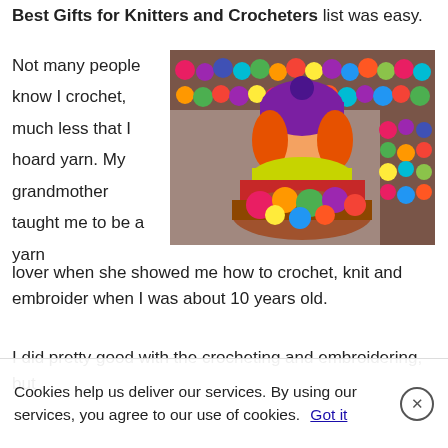Best Gifts for Knitters and Crocheters list was easy.
Not many people know I crochet, much less that I hoard yarn. My grandmother taught me to be a yarn lover when she showed me how to crochet, knit and embroider when I was about 10 years old.
[Figure (photo): Woman with orange hair wearing a purple knit hat, smiling behind a basket of colorful yarn balls with yarn-filled shelves in the background.]
I did pretty good with the crocheting and embroidering, but
Cookies help us deliver our services. By using our services, you agree to our use of cookies. Got it